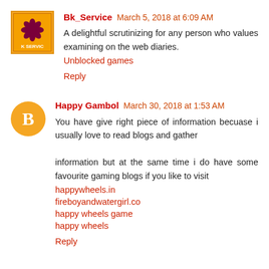[Figure (logo): BK Service avatar: orange/yellow square with a red flower/star logo and 'K SERVIC' text]
Bk_Service March 5, 2018 at 6:09 AM
A delightful scrutinizing for any person who values examining on the web diaries.
Unblocked games
Reply
[Figure (logo): Happy Gambol avatar: orange circle with white Blogger 'B' icon]
Happy Gambol March 30, 2018 at 1:53 AM
You have give right piece of information becuase i usually love to read blogs and gather

information but at the same time i do have some favourite gaming blogs if you like to visit
happywheels.in
fireboyandwatergirl.co
happy wheels game
happy wheels
Reply